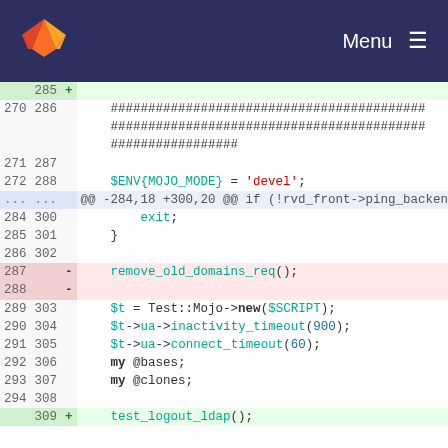GitLab — Menu
[Figure (screenshot): Git diff view showing code changes in a Perl/Mojo test file. Lines 270-309 shown with old/new line numbers, additions in green, deletions in red, context in white.]